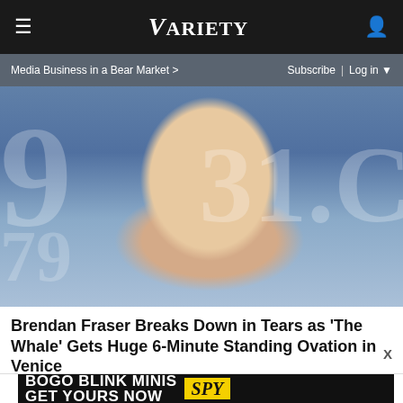VARIETY
Media Business in a Bear Market > Subscribe | Log in
[Figure (photo): Brendan Fraser smiling at a Venice Film Festival event, wearing a striped blazer and light blue shirt, with '79' and '31.' visible in the background signage]
Brendan Fraser Breaks Down in Tears as 'The Whale' Gets Huge 6-Minute Standing Ovation in Venice
[Figure (infographic): Advertisement banner: BOGO BLINK MINIS GET YOURS NOW with SPY logo in yellow]